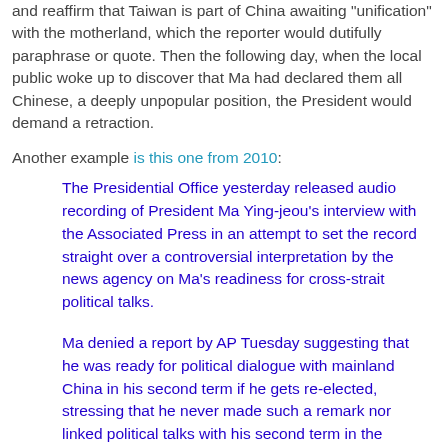and reaffirm that Taiwan is part of China awaiting "unification" with the motherland, which the reporter would dutifully paraphrase or quote. Then the following day, when the local public woke up to discover that Ma had declared them all Chinese, a deeply unpopular position, the President would demand a retraction.
Another example is this one from 2010:
The Presidential Office yesterday released audio recording of President Ma Ying-jeou's interview with the Associated Press in an attempt to set the record straight over a controversial interpretation by the news agency on Ma's readiness for cross-strait political talks.
Ma denied a report by AP Tuesday suggesting that he was ready for political dialogue with mainland China in his second term if he gets re-elected, stressing that he never made such a remark nor linked political talks with his second term in the interview.